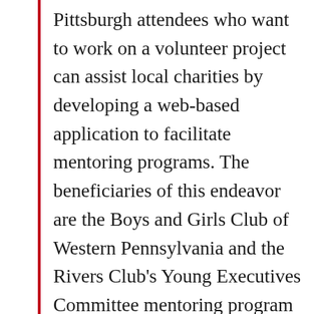Pittsburgh attendees who want to work on a volunteer project can assist local charities by developing a web-based application to facilitate mentoring programs. The beneficiaries of this endeavor are the Boys and Girls Club of Western Pennsylvania and the Rivers Club's Young Executives Committee mentoring program for talented students in the Pittsburgh public schools. Share your tips and ideas on what makes sense, but the committee has from